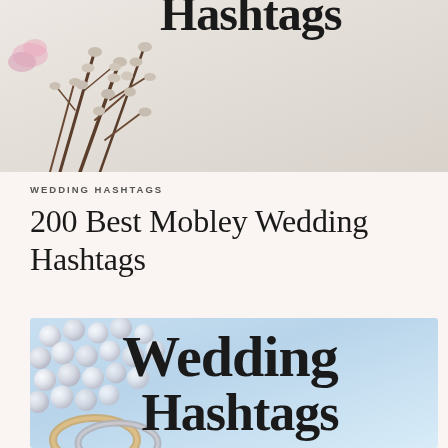[Figure (photo): Top portion of a blog article image showing pussy willow branches with small round buds against a light background, with decorative script text 'Hashtags' partially visible at top]
WEDDING HASHTAGS
200 Best Mobley Wedding Hashtags
[Figure (photo): Blog article featured image showing wedding rings and pearl necklace on a light blue background with bold serif text reading 'Wedding Hashtags']